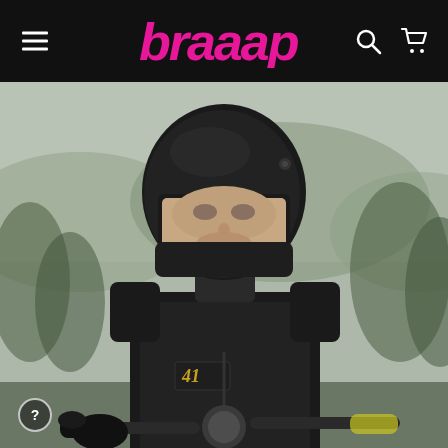[Figure (logo): Braaap motorcycle brand logo in pink/magenta italic bold font on black header bar with hamburger menu icon on left and search/cart icons on right]
[Figure (photo): Person wearing a black full-face motorcycle helmet and black quilted motorcycle jacket sitting on a motorbike with handlebars visible, blurred green and grey outdoor background with hills and trees]